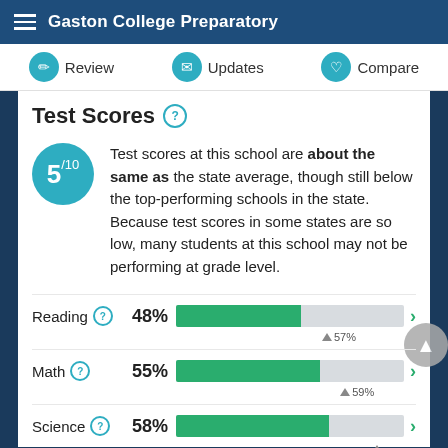Gaston College Preparatory
Review | Updates | Compare
Test Scores
Test scores at this school are about the same as the state average, though still below the top-performing schools in the state. Because test scores in some states are so low, many students at this school may not be performing at grade level.
[Figure (bar-chart): Test Score Bar Charts]